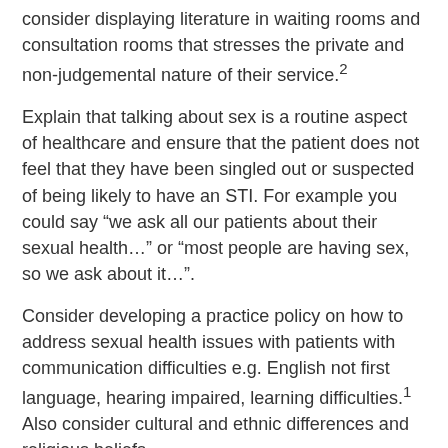consider displaying literature in waiting rooms and consultation rooms that stresses the private and non-judgemental nature of their service.2
Explain that talking about sex is a routine aspect of healthcare and ensure that the patient does not feel that they have been singled out or suspected of being likely to have an STI. For example you could say “we ask all our patients about their sexual health…” or “most people are having sex, so we ask about it…”.
Consider developing a practice policy on how to address sexual health issues with patients with communication difficulties e.g. English not first language, hearing impaired, learning difficulties.1 Also consider cultural and ethnic differences and religious beliefs.
Take a sexual history
A sexual history should start with open questions